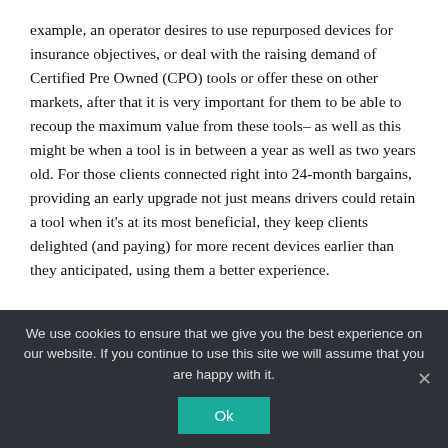example, an operator desires to use repurposed devices for insurance objectives, or deal with the raising demand of Certified Pre Owned (CPO) tools or offer these on other markets, after that it is very important for them to be able to recoup the maximum value from these tools– as well as this might be when a tool is in between a year as well as two years old. For those clients connected right into 24-month bargains, providing an early upgrade not just means drivers could retain a tool when it's at its most beneficial, they keep clients delighted (and paying) for more recent devices earlier than they anticipated, using them a better experience.
We use cookies to ensure that we give you the best experience on our website. If you continue to use this site we will assume that you are happy with it.
Ok